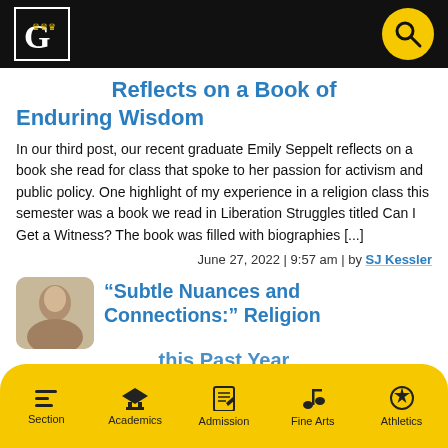Georgetown University website header with logo and search button
Reflects on a Book of Enduring Wisdom
In our third post, our recent graduate Emily Seppelt reflects on a book she read for class that spoke to her passion for activism and public policy.  One highlight of my experience in a religion class this semester was a book we read in Liberation Struggles titled Can I Get a Witness? The book was filled with biographies [...]
June 27, 2022  |  9:57 am  |  by SJ Kessler
“Subtle Nuances and Connections:” Religion this Past Year
Section | Academics | Admission | Fine Arts | Athletics